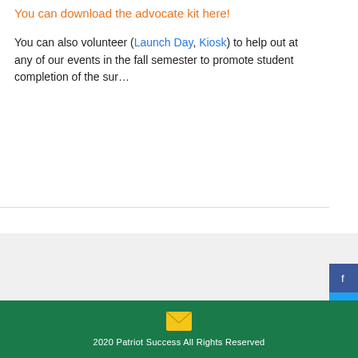You can download the advocate kit here!
You can also volunteer (Launch Day, Kiosk) to help out at any of our events in the fall semester to promote student completion of the sur…
[Figure (infographic): Social media share buttons for Facebook, Twitter, and Google+ displayed as a vertical sidebar on the right]
[Figure (illustration): Yellow envelope/email icon centered on green footer background]
2020 Patriot Success All Rights Reserved